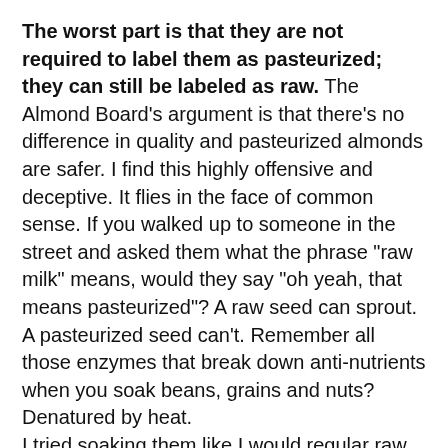The worst part is that they are not required to label them as pasteurized; they can still be labeled as raw. The Almond Board's argument is that there's no difference in quality and pasteurized almonds are safer. I find this highly offensive and deceptive. It flies in the face of common sense. If you walked up to someone in the street and asked them what the phrase "raw milk" means, would they say "oh yeah, that means pasteurized"? A raw seed can sprout. A pasteurized seed can't. Remember all those enzymes that break down anti-nutrients when you soak beans, grains and nuts? Denatured by heat.
I tried soaking them like I would regular raw almonds. I covered them in water overnight. In the morning, I noticed that the soaking water was milky and had an unpleasant smell. The outer layer of the almonds (the most cooked part) was falling apart into the water. They also didn't have the crisp texture of soaked raw almonds.
Tonight, I toasted them lightly. They definitely taste "off", and the texture isn't as good. There's no doubt about it, pasteurized California almonds are inferior. Despite my